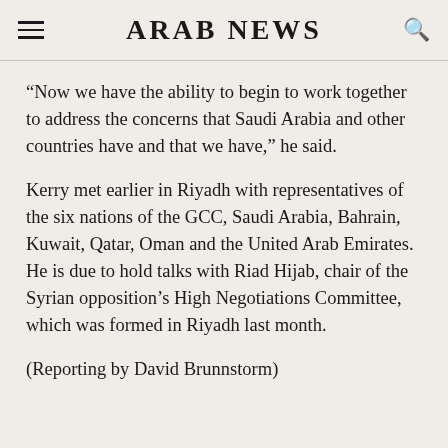ARAB NEWS
“Now we have the ability to begin to work together to address the concerns that Saudi Arabia and other countries have and that we have,” he said.
Kerry met earlier in Riyadh with representatives of the six nations of the GCC, Saudi Arabia, Bahrain, Kuwait, Qatar, Oman and the United Arab Emirates. He is due to hold talks with Riad Hijab, chair of the Syrian opposition’s High Negotiations Committee, which was formed in Riyadh last month.
(Reporting by David Brunnstorm)